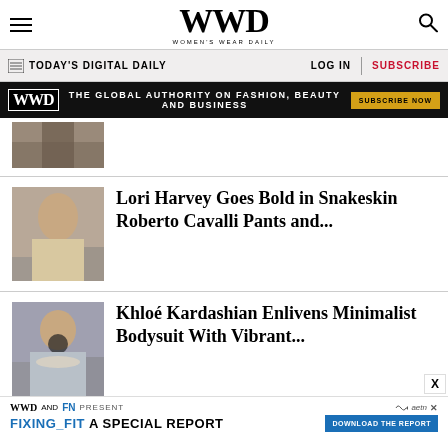WWD WOMEN'S WEAR DAILY
TODAY'S DIGITAL DAILY | LOG IN | SUBSCRIBE
[Figure (infographic): WWD ad banner: THE GLOBAL AUTHORITY ON FASHION, BEAUTY AND BUSINESS — SUBSCRIBE NOW]
[Figure (photo): Partial photo of a person in fashion clothing (cropped, top of article)]
Lori Harvey Goes Bold in Snakeskin Roberto Cavalli Pants and...
[Figure (photo): Photo of Lori Harvey wearing snakeskin Roberto Cavalli pants]
Khloé Kardashian Enlivens Minimalist Bodysuit With Vibrant...
[Figure (photo): Photo of Khloé Kardashian in sunglasses wearing a minimalist bodysuit]
[Figure (infographic): Bottom ad: WWD AND FN PRESENT FIXING_FIT A SPECIAL REPORT — DOWNLOAD THE REPORT (aetn logo)]